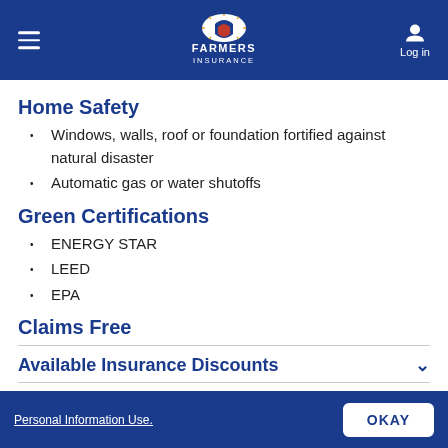FARMERS INSURANCE
Home Safety
Windows, walls, roof or foundation fortified against natural disaster
Automatic gas or water shutoffs
Green Certifications
ENERGY STAR
LEED
EPA
Claims Free
Available Insurance Discounts
Personal Information Use. OKAY